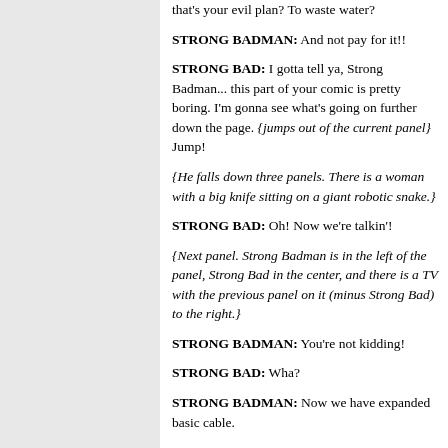that's your evil plan? To waste water?
STRONG BADMAN: And not pay for it!!
STRONG BAD: I gotta tell ya, Strong Badman... this part of your comic is pretty boring. I'm gonna see what's going on further down the page. {jumps out of the current panel} Jump!
{He falls down three panels. There is a woman with a big knife sitting on a giant robotic snake.}
STRONG BAD: Oh! Now we're talkin'!
{Next panel. Strong Badman is in the left of the panel, Strong Bad in the center, and there is a TV with the previous panel on it (minus Strong Bad) to the right.}
STRONG BADMAN: You're not kidding!
STRONG BAD: Wha?
STRONG BADMAN: Now we have expanded basic cable.